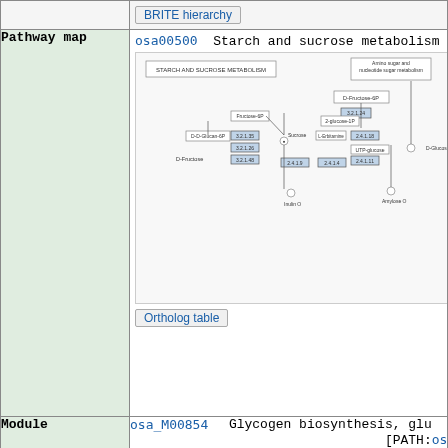|  | BRITE hierarchy |
| Pathway map | osa00500  Starch and sucrose metabolism [pathway map image] [Ortholog table] |
| Module | osa_M00854  Glycogen biosynthesis, glu... [PATH:osa00500] |
| Other DBs | GO: 0005982  0005985 |